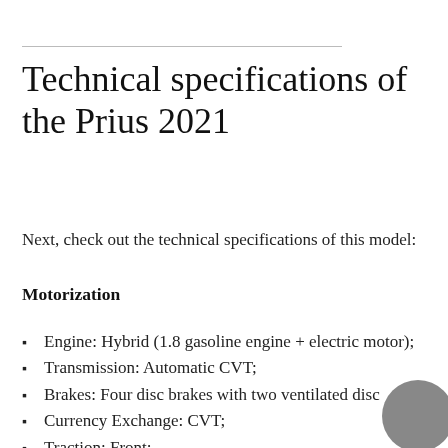Technical specifications of the Prius 2021
Next, check out the technical specifications of this model:
Motorization
Engine: Hybrid (1.8 gasoline engine + electric motor);
Transmission: Automatic CVT;
Brakes: Four disc brakes with two ventilated disc
Currency Exchange: CVT;
Traction: Front;
Direction: Electrical;